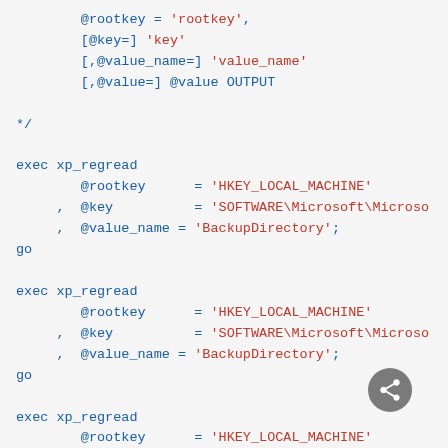code block showing xp_regread SQL stored procedure syntax and exec calls
[Figure (screenshot): Share/reply button icon in bottom right corner]